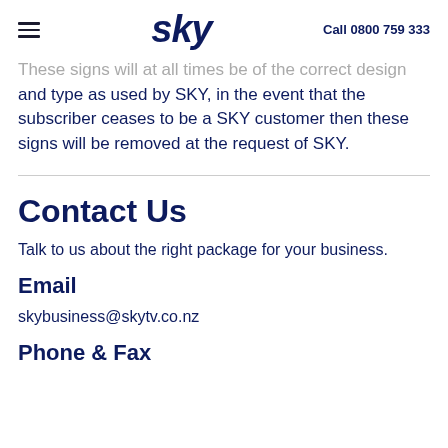sky | Call 0800 759 333
These signs will at all times be of the correct design and type as used by SKY, in the event that the subscriber ceases to be a SKY customer then these signs will be removed at the request of SKY.
Contact Us
Talk to us about the right package for your business.
Email
skybusiness@skytv.co.nz
Phone & Fax